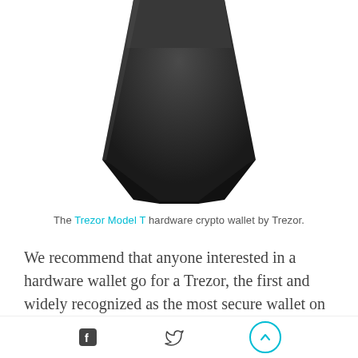[Figure (photo): Bottom portion of a black Trezor Model T hardware crypto wallet device, showing a trapezoidal/shield shape with dark matte finish, cut off at the top.]
The Trezor Model T hardware crypto wallet by Trezor.
We recommend that anyone interested in a hardware wallet go for a Trezor, the first and widely recognized as the most secure wallet on the market. Full disclosure, Invity and Trezor are part of the same holding group of companies. This is a real benefit: Invity's network of noncustodial exchanges is fully integrated into Trezor hardware wallets, meaning any
Facebook share | Twitter share | Scroll to top